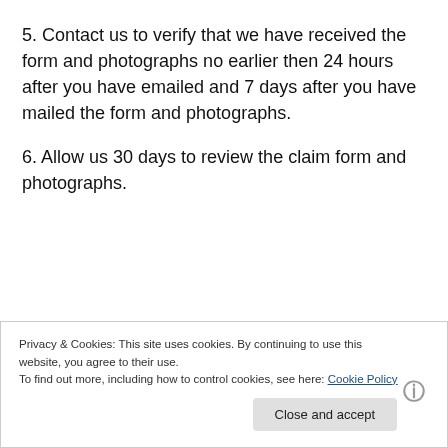5. Contact us to verify that we have received the form and photographs no earlier then 24 hours after you have emailed and 7 days after you have mailed the form and photographs.
6. Allow us 30 days to review the claim form and photographs.
Privacy & Cookies: This site uses cookies. By continuing to use this website, you agree to their use. To find out more, including how to control cookies, see here: Cookie Policy